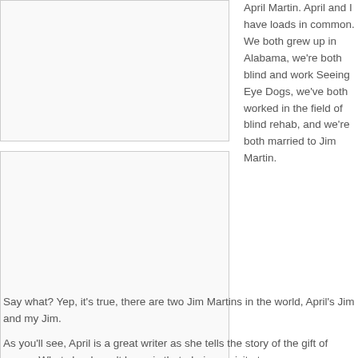[Figure (photo): Top left image placeholder box]
[Figure (photo): Bottom left image placeholder box]
April Martin. April and I have loads in common. We both grew up in Alabama, we're both blind and work Seeing Eye Dogs, we've both worked in the field of blind rehab, and we're both married to Jim Martin. Say what? Yep, it's true, there are two Jim Martins in the world, April's Jim and my Jim.
As you'll see, April is a great writer as she tells the story of the gift of peace. What she doesn't know is that, during a visit at